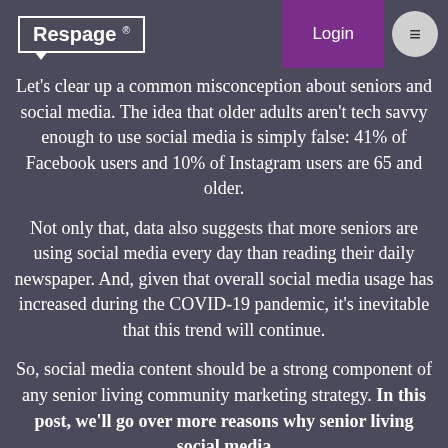Respage | Login
Let's clear up a common misconception about seniors and social media. The idea that older adults aren't tech savvy enough to use social media is simply false: 41% of Facebook users and 10% of Instagram users are 65 and older.
Not only that, data also suggests that more seniors are using social media every day than reading their daily newspaper. And, given that overall social media usage has increased during the COVID-19 pandemic, it's inevitable that this trend will continue.
So, social media content should be a strong component of any senior living community marketing strategy. In this post, we'll go over more reasons why senior living social media